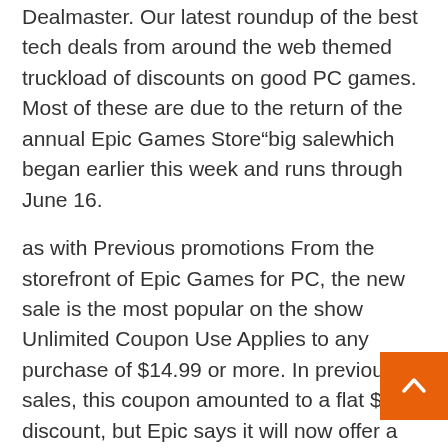Dealmaster. Our latest roundup of the best tech deals from around the web themed truckload of discounts on good PC games. Most of these are due to the return of the annual Epic Games Store"big salewhich began earlier this week and runs through June 16.
as with Previous promotions From the storefront of Epic Games for PC, the new sale is the most popular on the show Unlimited Coupon Use Applies to any purchase of $14.99 or more. In previous sales, this coupon amounted to a flat $10 discount, but Epic says it will now offer a 25 percent discount. This means that you won't save as much as before on less expensive games – a $15 game that would have been reduced to $5 after applying the coupon in previous sales will cost $11.25 – but you'll get a little more back as games get closer to full price. For example, a newer